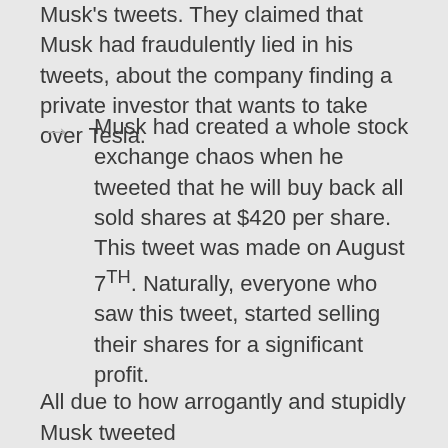Musk's tweets. They claimed that Musk had fraudulently lied in his tweets, about the company finding a private investor that wants to take over Tesla.
Musk had created a whole stock exchange chaos when he tweeted that he will buy back all sold shares at $420 per share. This tweet was made on August 7TH. Naturally, everyone who saw this tweet, started selling their shares for a significant profit.
All due to how arrogantly and stupidly Musk tweeted